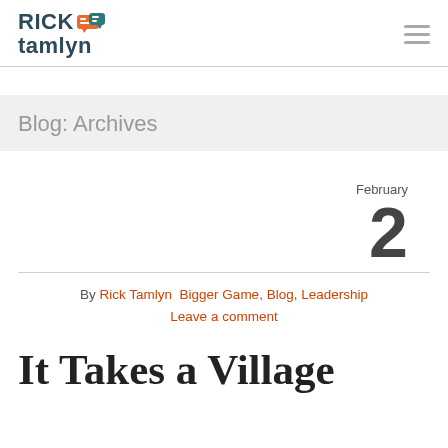Rick Tamlyn [logo with icon]
Blog: Archives
February 2
By Rick Tamlyn  Bigger Game, Blog, Leadership  Leave a comment
It Takes a Village